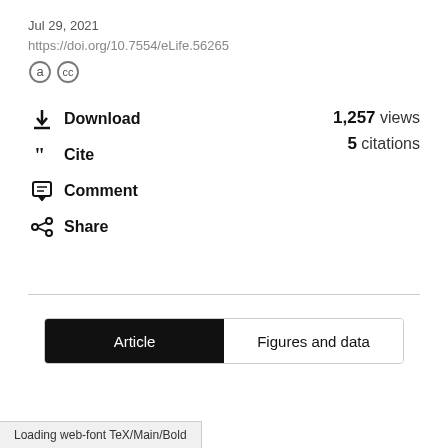Jul 29, 2021
https://doi.org/10.7554/eLife.56265
[Figure (other): Open access and Creative Commons license icons]
Download  1,257 views
5 citations
Cite
Comment
Share
Article  Figures and data
Loading web-font TeX/Main/Bold